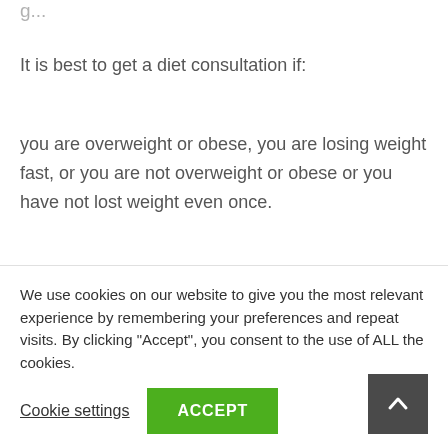It is best to get a diet consultation if:
you are overweight or obese, you are losing weight fast, or you are not overweight or obese or you have not lost weight even once.
These are the reasons why, the best way to lose weight while being healthy, is to go with a health conscious diet, this will prevent harmful foods and nutrients that
We use cookies on our website to give you the most relevant experience by remembering your preferences and repeat visits. By clicking "Accept", you consent to the use of ALL the cookies.